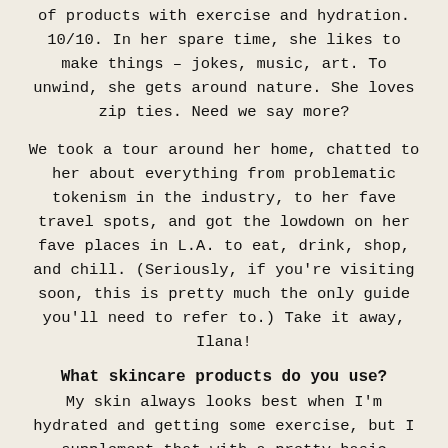of products with exercise and hydration. 10/10. In her spare time, she likes to make things – jokes, music, art. To unwind, she gets around nature. She loves zip ties. Need we say more?
We took a tour around her home, chatted to her about everything from problematic tokenism in the industry, to her fave travel spots, and got the lowdown on her fave places in L.A. to eat, drink, shop, and chill. (Seriously, if you're visiting soon, this is pretty much the only guide you'll need to refer to.) Take it away, Ilana!
What skincare products do you use?
My skin always looks best when I'm hydrated and getting some exercise, but I supplement that with a pretty basic product routine. I start with the Malin+Goetz Grapefruit Face Cleanser and follow with the Malin+Goetz Vitamin E Face Moisturizer. I have a